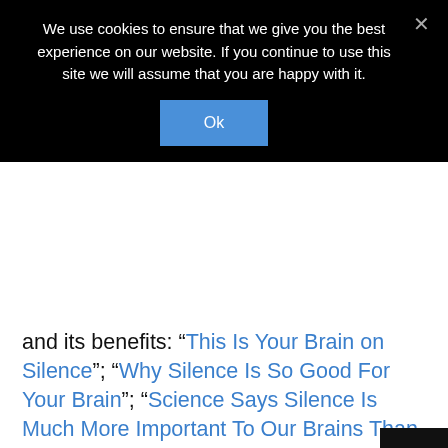We use cookies to ensure that we give you the best experience on our website. If you continue to use this site we will assume that you are happy with it.
and its benefits: “This Is Your Brain on Silence”; “Why Silence Is So Good For Your Brain”; “Science Says Silence Is Much More Important To Our Brains Than We Think”.
Take a step today to consciously create more space and freedom to live your life to the fullest.
This title is available as a Book, and eBook and an Audiobook